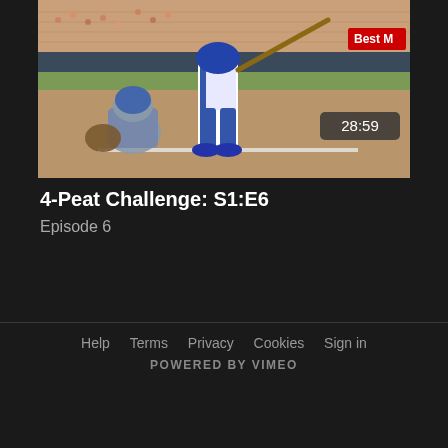[Figure (photo): Baseball game photo showing a batter in blue uniform mid-swing at home plate, with a catcher crouching behind, stadium stands visible in background, duration badge showing 28:59]
4-Peat Challenge: S1:E6
Episode 6
Help   Terms   Privacy   Cookies   Sign in
POWERED BY VIMEO